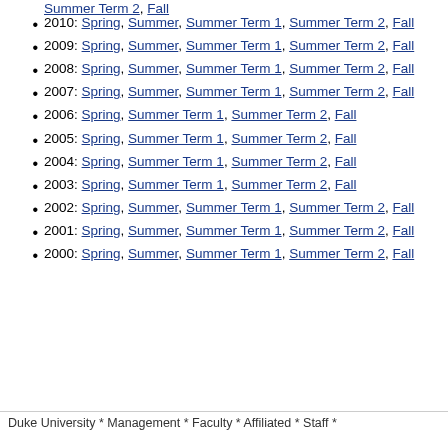Summer Term 2, Fall (truncated top)
2010: Spring, Summer, Summer Term 1, Summer Term 2, Fall
2009: Spring, Summer, Summer Term 1, Summer Term 2, Fall
2008: Spring, Summer, Summer Term 1, Summer Term 2, Fall
2007: Spring, Summer, Summer Term 1, Summer Term 2, Fall
2006: Spring, Summer Term 1, Summer Term 2, Fall
2005: Spring, Summer Term 1, Summer Term 2, Fall
2004: Spring, Summer Term 1, Summer Term 2, Fall
2003: Spring, Summer Term 1, Summer Term 2, Fall
2002: Spring, Summer, Summer Term 1, Summer Term 2, Fall
2001: Spring, Summer, Summer Term 1, Summer Term 2, Fall
2000: Spring, Summer, Summer Term 1, Summer Term 2, Fall
Duke University * Management * Faculty * Affiliated * Staff *